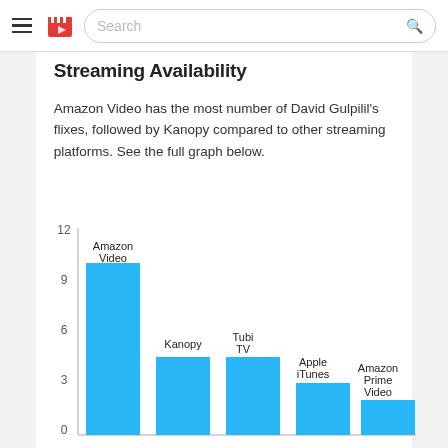Search
Streaming Availability
Amazon Video has the most number of David Gulpilil’s flixes, followed by Kanopy compared to other streaming platforms. See the full graph below.
[Figure (bar-chart): ]